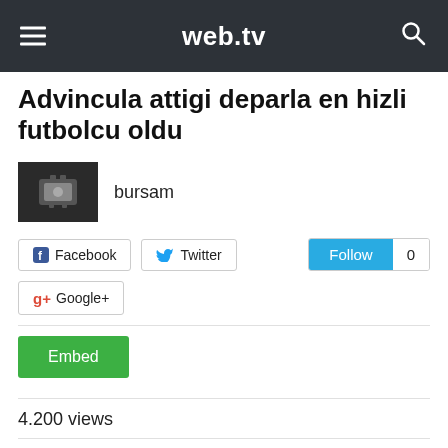web.tv
Advincula attigi deparla en hizli futbolcu oldu
bursam
Facebook  Twitter  Follow 0  Google+
Embed
4.200 views
2  1  4.200
Category  Sports  •  Date Added